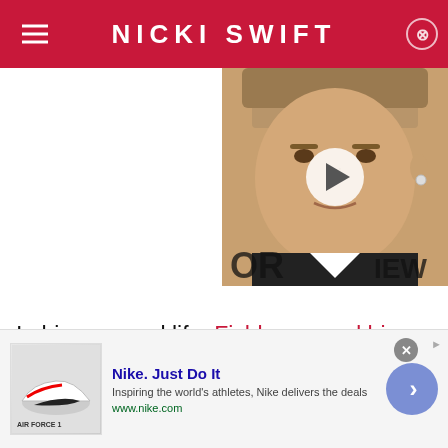NICKI SWIFT
[Figure (photo): Video thumbnail showing a young male celebrity with a play button overlay. Partial text signs visible in background reading 'OR' and 'IEW'.]
In his personal life, Fishburne and his wife Gina Torres were together for many years, seeming like one of
[Figure (infographic): Nike advertisement banner. Shows Nike Air Force 1 shoes. Text: Nike. Just Do It. Inspiring the world's athletes, Nike delivers the deals. www.nike.com]